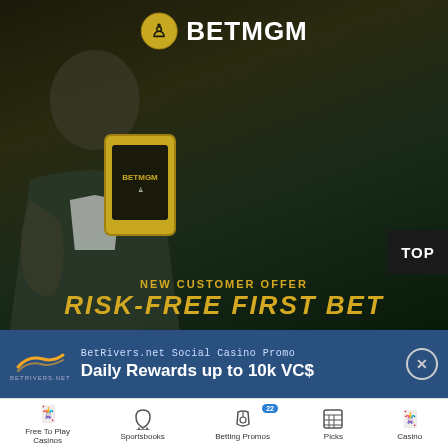[Figure (photo): BetMGM advertisement showing a man in a green suit holding a gold-colored smartphone with the BetMGM logo. The background is dark green/black. The BetMGM logo and lion icon appear at the top. Text at the bottom reads 'NEW CUSTOMER OFFER' and 'RISK-FREE FIRST BET' in gold. A dark 'TOP' button appears on the right side.]
BetRivers.net Social Casino Promo
Daily Rewards up to 10k VC$
Free To Play Casinos
Sportsbooks
Betting Promos
Picks
Casino